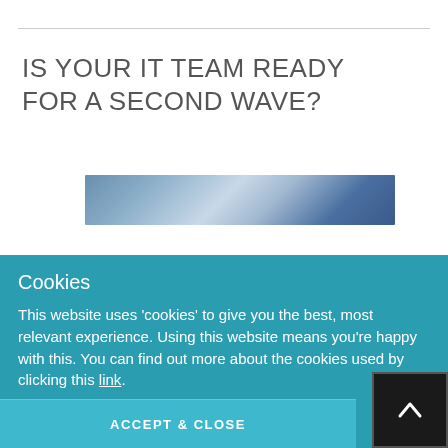IS YOUR IT TEAM READY FOR A SECOND WAVE?
[Figure (photo): A horizontal banner image showing cloudy sky tones in blue and grey.]
Cookies
This website uses 'cookies' to give you the best, most relevant experience. Using this website means you're happy with this. You can find out more about the cookies used by clicking this link.
ACCEPT & CLOSE